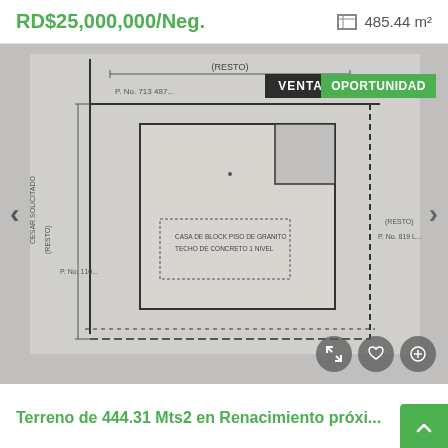RD$25,000,000/Neg.
485.44 m²
[Figure (schematic): Blueprint/architectural plan showing a land parcel with a building footprint labeled 'CASA DE BLOCK PISO DE GRANITO TECHO DE CONCRETO 1 NIVEL'. Navigation arrows on left and right. Badge labels VENTA and OPORTUNIDAD overlaid on top right.]
Terreno de 444.31 Mts2 en Renacimiento próxi...